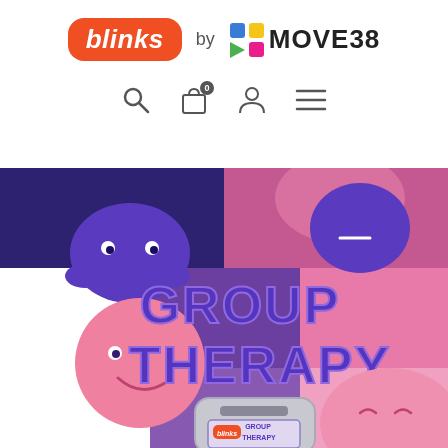[Figure (logo): Blinks by Move38 logo — orange rounded rectangle with white italic 'blinks' text, followed by 'by' in gray, then Move38 colored grid icon and 'MOVE38' in bold black text]
[Figure (screenshot): Navigation bar icons: search (magnifying glass), shopping bag with '0' badge, user/person icon, hamburger menu icon]
[Figure (illustration): Group Therapy game promotional banner — colorful cartoon illustration with purple and pink blob-like characters, bold bubble text reading 'GROUP THERAPY' in blue/purple gradient, a Blinks hardware device with Group Therapy label, on a checkered purple/pink/white background]